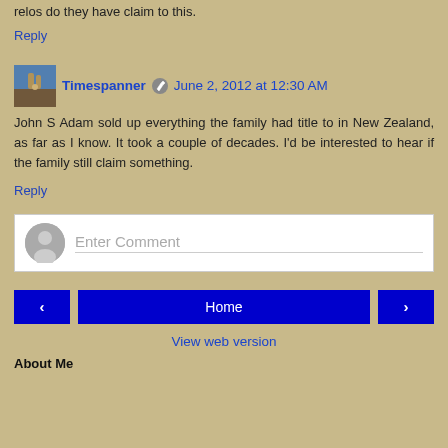relos do they have claim to this.
Reply
Timespanner · June 2, 2012 at 12:30 AM
John S Adam sold up everything the family had title to in New Zealand, as far as I know. It took a couple of decades. I'd be interested to hear if the family still claim something.
Reply
Enter Comment
Home
View web version
About Me